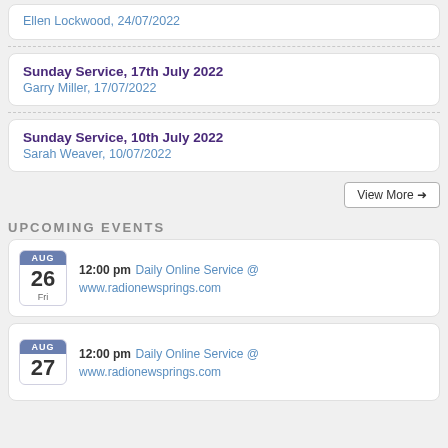Ellen Lockwood, 24/07/2022
Sunday Service, 17th July 2022
Garry Miller, 17/07/2022
Sunday Service, 10th July 2022
Sarah Weaver, 10/07/2022
View More →
UPCOMING EVENTS
AUG 26 Fri — 12:00 pm Daily Online Service @ www.radionewsprings.com
AUG 27 — 12:00 pm Daily Online Service @ www.radionewsprings.com